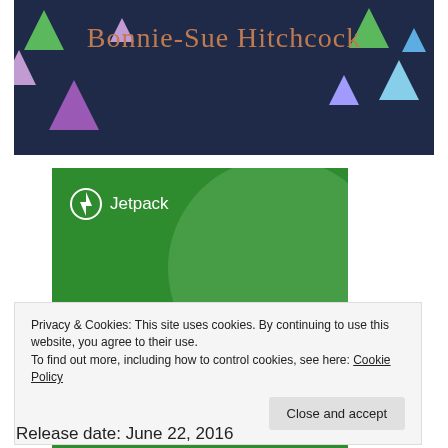[Figure (illustration): Dark navy banner with 'Bonnie-Sue Hitchcock' text in copper/brown serif font, decorated with colorful triangle shapes (green, purple, light blue, pink) arranged like bunting flags.]
[Figure (screenshot): Jetpack plugin advertisement on green background. Shows Jetpack logo (lightning bolt in circle) and text 'The best real-time WordPress backup plugin' with a 'Back up your site' button.]
Privacy & Cookies: This site uses cookies. By continuing to use this website, you agree to their use.
To find out more, including how to control cookies, see here: Cookie Policy
Close and accept
Release date: June 22, 2016